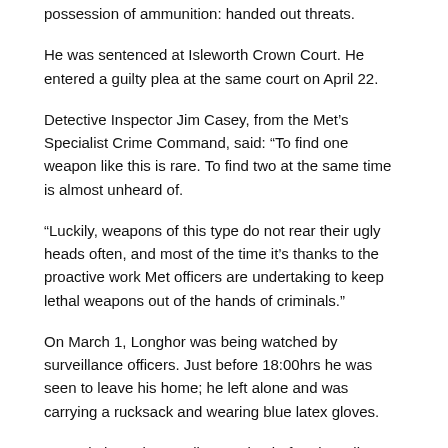possession of ammunition: handed out threats.
He was sentenced at Isleworth Crown Court. He entered a guilty plea at the same court on April 22.
Detective Inspector Jim Casey, from the Met’s Specialist Crime Command, said: “To find one weapon like this is rare. To find two at the same time is almost unheard of.
“Luckily, weapons of this type do not rear their ugly heads often, and most of the time it’s thanks to the proactive work Met officers are undertaking to keep lethal weapons out of the hands of criminals.”
On March 1, Longhor was being watched by surveillance officers. Just before 18:00hrs he was seen to leave his home; he left alone and was carrying a rucksack and wearing blue latex gloves.
He took the train to Ealing Station before boarding a district line